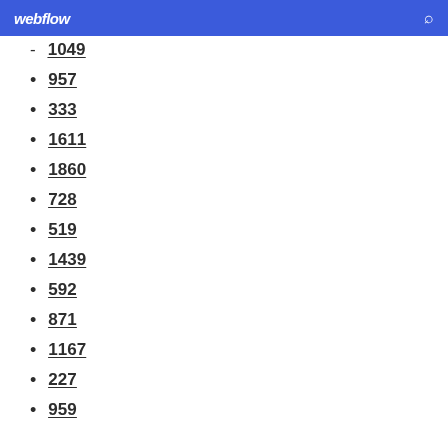webflow
1049
957
333
1611
1860
728
519
1439
592
871
1167
227
959